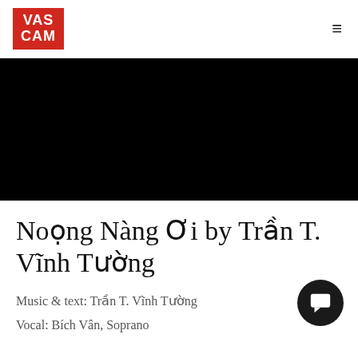VASCAM
[Figure (other): Black video player embed area]
Noọng Nàng Ơi by Trần T. Vĩnh Tường
Music & text: Trần T. Vĩnh Tường
Vocal: Bích Vân, Soprano